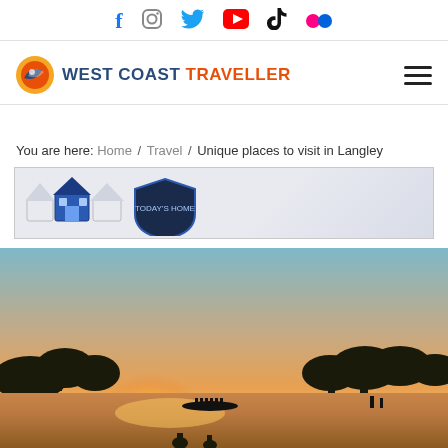Social media icons: Facebook, Instagram, Twitter, YouTube, TikTok, Flickr
WEST COAST TRAVELLER
You are here: Home / Travel / Unique places to visit in Langley
[Figure (other): Advertisement banner with 3D house icons and a shield logo]
[Figure (photo): Scenic sunset photo over a river with silhouetted trees and people in boats on the water — used as hero image for article about unique places to visit in Langley]